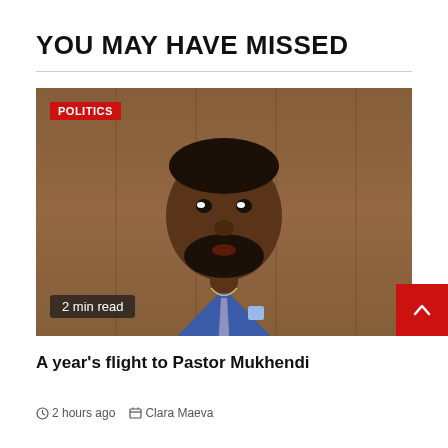YOU MAY HAVE MISSED
[Figure (photo): A man in a blue suit speaking, with a 'POLITICS' badge in the top-left corner and '2 min read' badge in the bottom-left corner of the image.]
A year's flight to Pastor Mukhendi
2 hours ago  Clara Maeva